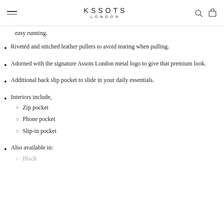ASSOTS LONDON
easy running.
Riveted and stitched leather pullers to avoid tearing when pulling.
Adorned with the signature Assots London metal logo to give that premium look.
Additional back slip pocket to slide in your daily essentials.
Interiors include, Zip pocket, Phone pocket, Slip-in pocket
Also available in: Black